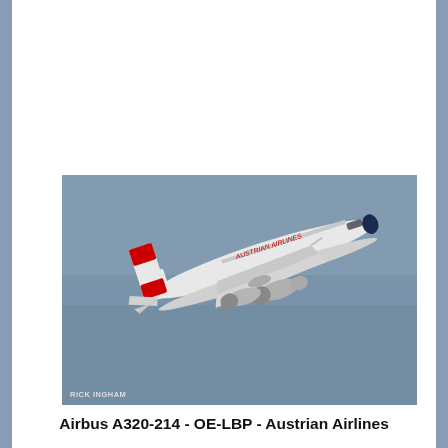[Figure (photo): Photograph of an Austrian Airlines Airbus A320-214 (registration OE-LBP) in flight against a blue-grey sky. The aircraft is white with red Austrian Airlines livery on the fuselage and a distinctive red-and-white striped tail. Landing gear is retracted. Photographer credit 'RICK INGHAM' appears in small text at the lower left of the image.]
Airbus A320-214 - OE-LBP - Austrian Airlines